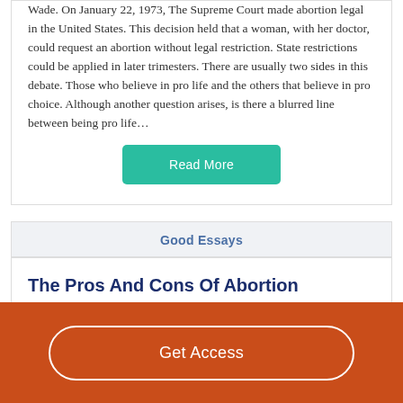Wade. On January 22, 1973, The Supreme Court made abortion legal in the United States. This decision held that a woman, with her doctor, could request an abortion without legal restriction. State restrictions could be applied in later trimesters. There are usually two sides in this debate. Those who believe in pro life and the others that believe in pro choice. Although another question arises, is there a blurred line between being pro life…
Read More
Good Essays
The Pros And Cons Of Abortion
Get Access